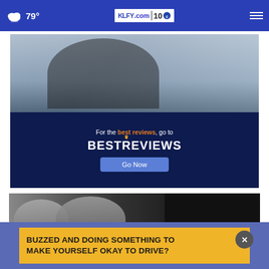79° KLFY.com 10
[Figure (photo): BestReviews advertisement showing a man sitting on a couch using a remote control, with the text 'For the best reviews, go to BESTREVIEWS' and a 'Go Now' button on a dark navy background]
[Figure (photo): Black and white photo of a child and an adult facing each other closely, appearing to be in conversation or confrontation]
BUZZED AND DOING SOMETHING TO MAKE YOURSELF OKAY TO DRIVE?